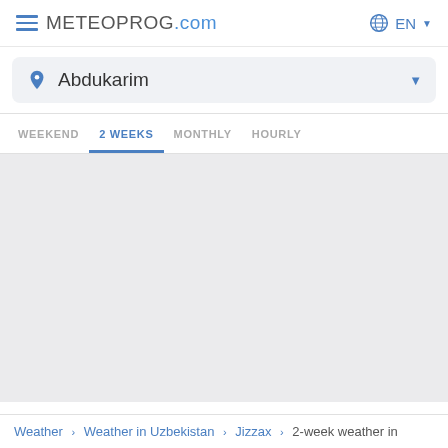METEOPROG.com  EN
Abdukarim
WEEKEND  2 WEEKS  MONTHLY  HOURLY
Weather > Weather in Uzbekistan > Jizzax > 2-week weather in